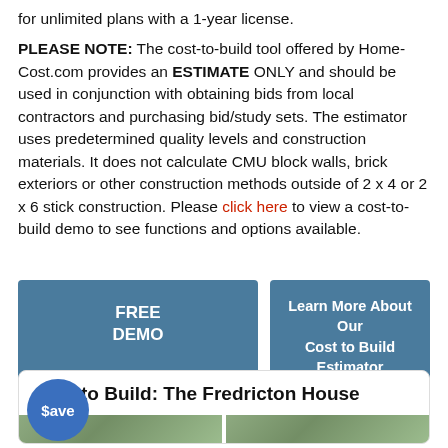for unlimited plans with a 1-year license.
PLEASE NOTE: The cost-to-build tool offered by HomeCost.com provides an ESTIMATE ONLY and should be used in conjunction with obtaining bids from local contractors and purchasing bid/study sets. The estimator uses predetermined quality levels and construction materials. It does not calculate CMU block walls, brick exteriors or other construction methods outside of 2 x 4 or 2 x 6 stick construction. Please click here to view a cost-to- build demo to see functions and options available.
[Figure (other): Two buttons: 'FREE DEMO' (left, steel blue) and 'Learn More About Our Cost to Build Estimator' (right, steel blue)]
[Figure (other): Card section with blue $ave circle badge and bold title 'to Build: The Fredricton House' with house photo thumbnails at bottom]